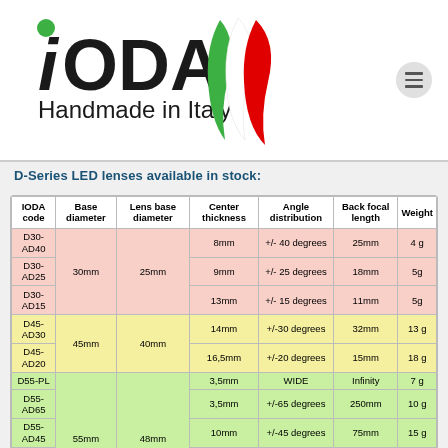[Figure (logo): iODA Handmade in Italy logo with Italian flag design]
D-Series LED lenses available in stock:
| IODA code | Base diameter | Lens base diameter | Center thickness | Angle distribution | Back focal length | Weight |
| --- | --- | --- | --- | --- | --- | --- |
| D30-AD40 | 30mm | 25mm | 8mm | +/- 40 degrees | 25mm | 4 g |
| D30-AD25 | 30mm | 25mm | 9mm | +/- 25 degrees | 18mm | 5g |
| D30-AD15 | 30mm | 25mm | 13mm | +/- 15 degrees | 11mm | 5g |
| D45-AD30 | 45mm | 40mm | 14mm | +/-30 degrees | 32mm | 13 g |
| D45-AD20 | 45mm | 40mm | 16,5mm | +/-20 degrees | 15mm | 18 g |
| D55-PL | 55mm | 48mm | 3,5mm | WIDE | Infinity | 7 g |
| D55-AD65 | 55mm | 48mm | 3,5mm | +/-65 degrees | 250mm | 10 g |
| D55-AD45 | 55mm | 48mm | 10mm | +/-45 degrees | 75mm | 15 g |
| D55-AD30 | 55mm | 48mm | 19,5mm | +/-30 degrees | 28mm | 26 g |
| D55-AD20 | 55mm | 48mm | 30mm | +/-20 degrees | 13mm | 41 g |
| D70-AD60 | 70mm | 65mm | 9mm | +/- 60 degrees | 175mm | 25 g |
| D70-AD50 | 70mm | 65mm | 13mm | +/-50 degrees | 105mm | 30 g |
| D70-AD40 | 70mm | 65mm | 17mm | +/-40 degrees | 75mm | 42 g |